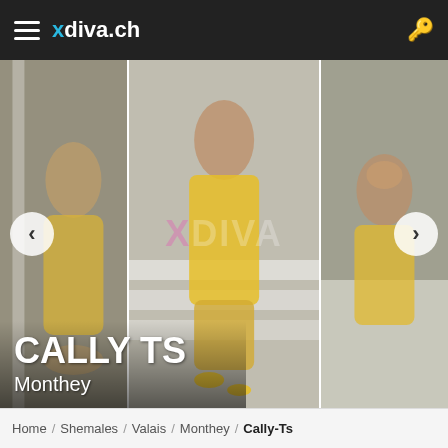xdiva.ch
[Figure (photo): Three side-by-side photos of a person named Cally TS wearing a yellow outfit, with navigation arrows and an XDIVA watermark. Name overlay reads 'CALLY TS' and 'Monthey'.]
Home / Shemales / Valais / Monthey / Cally-Ts